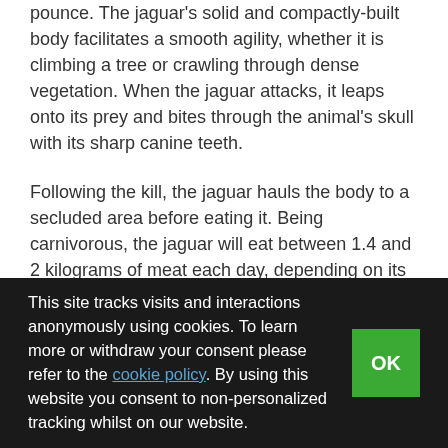pounce. The jaguar's solid and compactly-built body facilitates a smooth agility, whether it is climbing a tree or crawling through dense vegetation. When the jaguar attacks, it leaps onto its prey and bites through the animal's skull with its sharp canine teeth.
Following the kill, the jaguar hauls the body to a secluded area before eating it. Being carnivorous, the jaguar will eat between 1.4 and 2 kilograms of meat each day, depending on its size and the availability of prey. Following periods of famine, jaguars have been known to eat in excess of 20 kilograms of meat during a single feeding session.
A day in the life of a jaguar is only one of numerous days for a jaguar that survives into old age. Jaguars are renowned for their longevity, living up to 15 years
This site tracks visits and interactions anonymously using cookies. To learn more or withdraw your consent please refer to the cookie policy. By using this website you consent to non-personalized tracking whilst on our website.